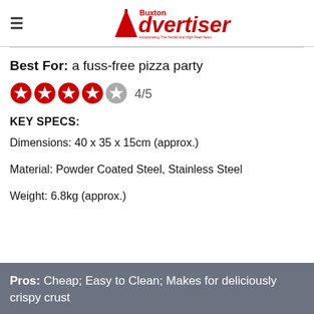Buxton Advertiser — Incorporating The Herald and High Peak News
Best For: a fuss-free pizza party
[Figure (other): Star rating showing 4 out of 5 red stars, with text '4/5']
KEY SPECS:
Dimensions: 40 x 35 x 15cm (approx.)
Material: Powder Coated Steel, Stainless Steel
Weight: 6.8kg (approx.)
Pros: Cheap; Easy to Clean; Makes for deliciously crispy crust